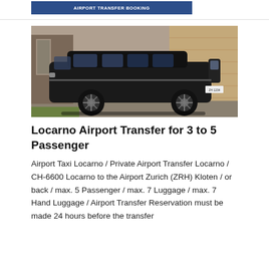AIRPORT TRANSFER BOOKING
[Figure (photo): Black Mercedes-Benz van/minivan parked in a driveway next to a brick building, side profile view.]
Locarno Airport Transfer for 3 to 5 Passenger
Airport Taxi Locarno / Private Airport Transfer Locarno / CH-6600 Locarno to the Airport Zurich (ZRH) Kloten / or back / max. 5 Passenger / max. 7 Luggage / max. 7 Hand Luggage / Airport Transfer Reservation must be made 24 hours before the transfer